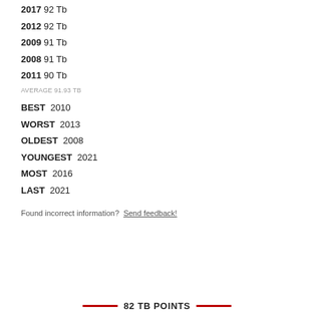2017 92 Tb
2012 92 Tb
2009 91 Tb
2008 91 Tb
2011 90 Tb
AVERAGE 91.93 TB
BEST 2010
WORST 2013
OLDEST 2008
YOUNGEST 2021
MOST 2016
LAST 2021
Found incorrect information? Send feedback!
82 TB POINTS